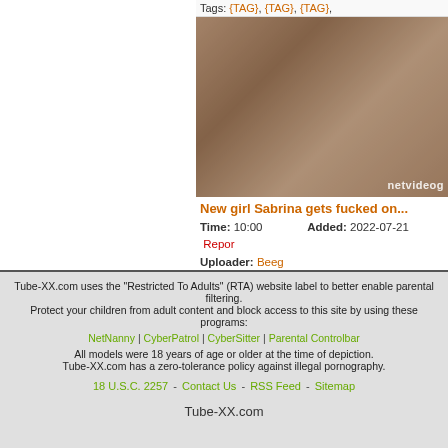Tags: {TAG}, {TAG}, {TAG},
[Figure (photo): Video thumbnail showing adult content. Watermark: netvideog]
New girl Sabrina gets fucked on...
Time: 10:00   Added: 2022-07-21
Uploader: Beeg   Report
Tags: {TAG}, {TAG}, {TAG},
Tube-XX.com uses the "Restricted To Adults" (RTA) website label to better enable parental filtering.
Protect your children from adult content and block access to this site by using these programs:
NetNanny | CyberPatrol | CyberSitter | Parental Controlbar
All models were 18 years of age or older at the time of depiction.
Tube-XX.com has a zero-tolerance policy against illegal pornography.
18 U.S.C. 2257 - Contact Us - RSS Feed - Sitemap
Tube-XX.com